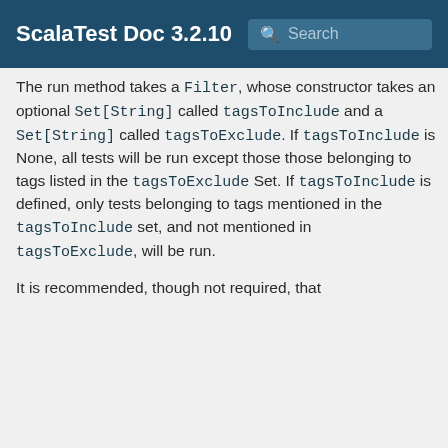ScalaTest Doc 3.2.10
The run method takes a Filter, whose constructor takes an optional Set[String] called tagsToInclude and a Set[String] called tagsToExclude. If tagsToInclude is None, all tests will be run except those those belonging to tags listed in the tagsToExclude Set. If tagsToInclude is defined, only tests belonging to tags mentioned in the tagsToInclude set, and not mentioned in tagsToExclude, will be run.
It is recommended, though not required, that